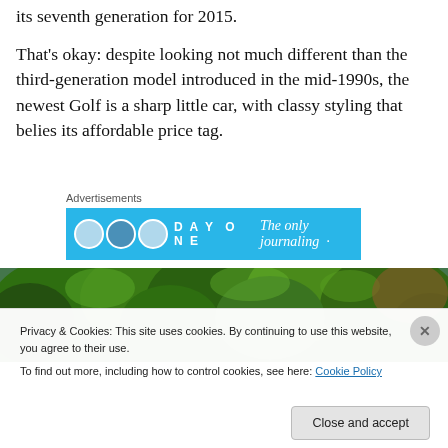its seventh generation for 2015.
That's okay: despite looking not much different than the third-generation model introduced in the mid-1990s, the newest Golf is a sharp little car, with classy styling that belies its affordable price tag.
[Figure (infographic): Advertisement banner: DAY ONE app - The only journaling app shown with circular app icons on a light blue background]
[Figure (photo): Outdoor photo showing green trees canopy against a bright sky]
Privacy & Cookies: This site uses cookies. By continuing to use this website, you agree to their use.
To find out more, including how to control cookies, see here: Cookie Policy
Close and accept